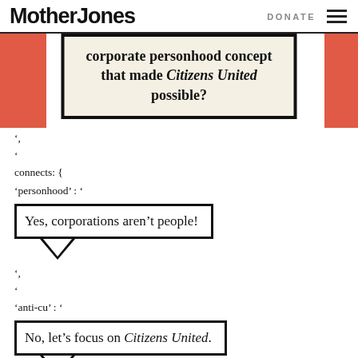Mother Jones | DONATE
corporate personhood concept that made Citizens United possible?
',
'connects: {
'personhood' : '
[Figure (infographic): Speech bubble box with text: Yes, corporations aren't people! with downward arrow below]
',
';
'anti-cu' : '
[Figure (infographic): Speech bubble box with text: No, let's focus on Citizens United. with downward arrow below]
',
}